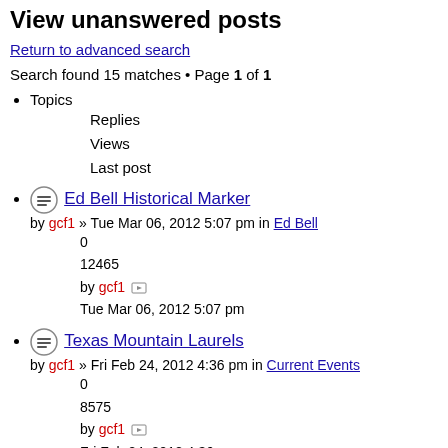View unanswered posts
Return to advanced search
Search found 15 matches • Page 1 of 1
Topics
Replies
Views
Last post
Ed Bell Historical Marker
by gcf1 » Tue Mar 06, 2012 5:07 pm in Ed Bell
0
12465
by gcf1
Tue Mar 06, 2012 5:07 pm
Texas Mountain Laurels
by gcf1 » Fri Feb 24, 2012 4:36 pm in Current Events
0
8575
by gcf1
Fri Feb 24, 2012 4:36 pm
Indianola TX on Facebook